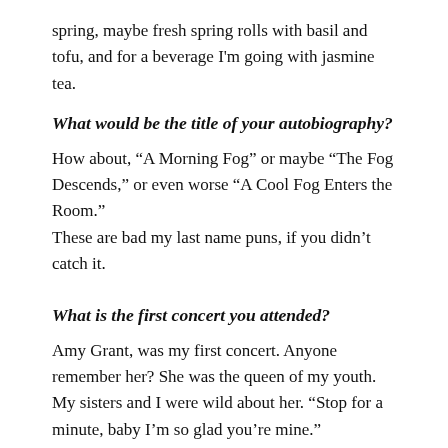spring, maybe fresh spring rolls with basil and tofu, and for a beverage I'm going with jasmine tea.
What would be the title of your autobiography?
How about, “A Morning Fog” or maybe “The Fog Descends,” or even worse “A Cool Fog Enters the Room.”
These are bad my last name puns, if you didn’t catch it.
What is the first concert you attended?
Amy Grant, was my first concert. Anyone remember her? She was the queen of my youth. My sisters and I were wild about her. “Stop for a minute, baby I’m so glad you’re mine.”
What is your favorite hobby or pastime?